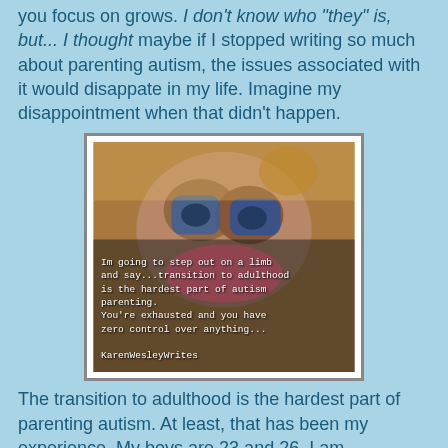you focus on grows. I don't know who 'they' is, but... I thought maybe if I stopped writing so much about parenting autism, the issues associated with it would disappate in my life. Imagine my disappointment when that didn't happen.
[Figure (photo): Close-up photo of a person wearing glasses, overlaid with white monospace text reading: 'Im going to step out on a limb and say...transition to adulthood is the hardest part of autism parenting. You're exhausted and you have zero control over anything... KarenWesleyWrites']
The transition to adulthood is the hardest part of parenting autism. At least, that has been my experience. My boys are 23 and 26. I am exhausted. I have zero control over